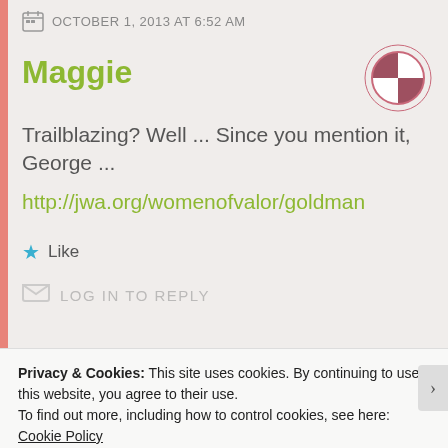OCTOBER 1, 2013 AT 6:52 AM
Maggie
Trailblazing? Well ... Since you mention it, George ...
http://jwa.org/womenofvalor/goldman
Like
LOG IN TO REPLY
Privacy & Cookies: This site uses cookies. By continuing to use this website, you agree to their use.
To find out more, including how to control cookies, see here: Cookie Policy
Close and accept